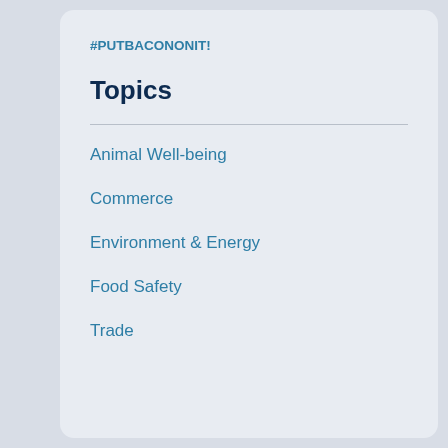#PUTBACONONIT!
Topics
Animal Well-being
Commerce
Environment & Energy
Food Safety
Trade